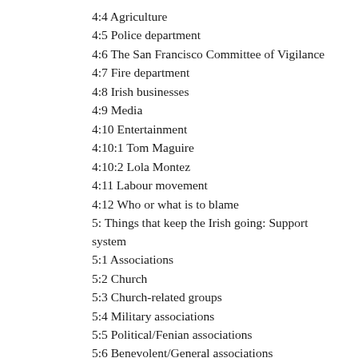4:4 Agriculture
4:5 Police department
4:6 The San Francisco Committee of Vigilance
4:7 Fire department
4:8 Irish businesses
4:9 Media
4:10 Entertainment
4:10:1 Tom Maguire
4:10:2 Lola Montez
4:11 Labour movement
4:12 Who or what is to blame
5: Things that keep the Irish going: Support system
5:1 Associations
5:2 Church
5:3 Church-related groups
5:4 Military associations
5:5 Political/Fenian associations
5:6 Benevolent/General associations